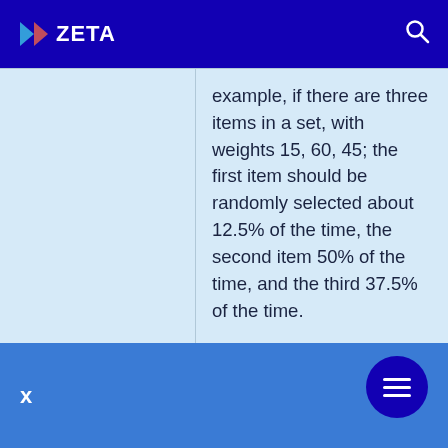ZETA
example, if there are three items in a set, with weights 15, 60, 45; the first item should be randomly selected about 12.5% of the time, the second item 50% of the time, and the third 37.5% of the time.